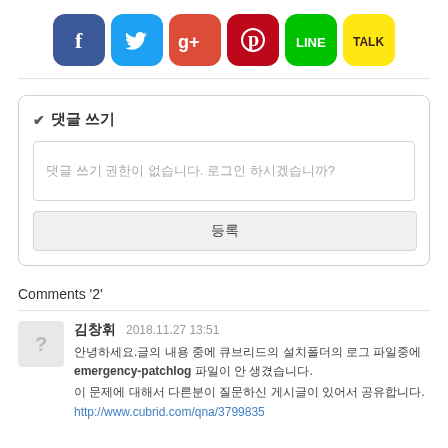[Figure (other): Social sharing icons row: Facebook (blue), Twitter (light blue), Google+ (red), Pinterest (dark red), LINE (green), KakaoTalk (yellow)]
✔ 댓글 쓰기
댓글 쓰기 권한이 없습니다. 로그인 하시겠습니까?
등록
Comments '2'
김창휘   2018.11.27 13:51
안녕하세요.글의 내용 중에 큐브리드의 설치폴더의 로그 파일중에 emergency-patchlog 파일이 안 생겼습니다.
이 문제에 대해서 다른분이 질문하신 게시글이 있어서 공유합니다.
http://www.cubrid.com/qna/3799835